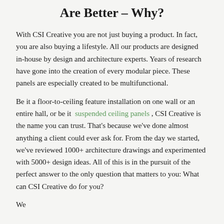Are Better - Why?
With CSI Creative you are not just buying a product. In fact, you are also buying a lifestyle. All our products are designed in-house by design and architecture experts. Years of research have gone into the creation of every modular piece. These panels are especially created to be multifunctional.
Be it a floor-to-ceiling feature installation on one wall or an entire hall, or be it suspended ceiling panels, CSI Creative is the name you can trust. That's because we've done almost anything a client could ever ask for. From the day we started, we've reviewed 1000+ architecture drawings and experimented with 5000+ design ideas. All of this is in the pursuit of the perfect answer to the only question that matters to you: What can CSI Creative do for you?
We...